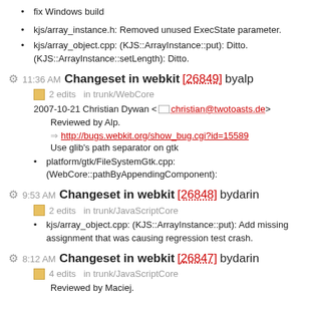fix Windows build
kjs/array_instance.h: Removed unused ExecState parameter.
kjs/array_object.cpp: (KJS::ArrayInstance::put): Ditto. (KJS::ArrayInstance::setLength): Ditto.
11:36 AM Changeset in webkit [26849] by alp
2 edits in trunk/WebCore
2007-10-21 Christian Dywan <christian@twotoasts.de>
Reviewed by Alp.
http://bugs.webkit.org/show_bug.cgi?id=15589
Use glib's path separator on gtk
platform/gtk/FileSystemGtk.cpp: (WebCore::pathByAppendingComponent):
9:53 AM Changeset in webkit [26848] by darin
2 edits in trunk/JavaScriptCore
kjs/array_object.cpp: (KJS::ArrayInstance::put): Add missing assignment that was causing regression test crash.
8:12 AM Changeset in webkit [26847] by darin
4 edits in trunk/JavaScriptCore
Reviewed by Maciej.